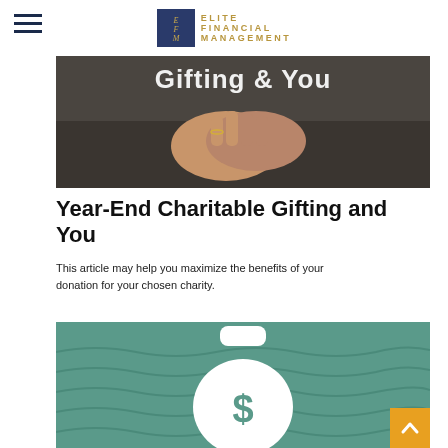Elite Financial Management
[Figure (photo): Hands clasped together with text overlay reading 'Gifting & You' on a dark background]
Year-End Charitable Gifting and You
This article may help you maximize the benefits of your donation for your chosen charity.
[Figure (illustration): White money bag icon with dollar sign on a teal water background, with a yellow back-to-top arrow button in the bottom-right corner]